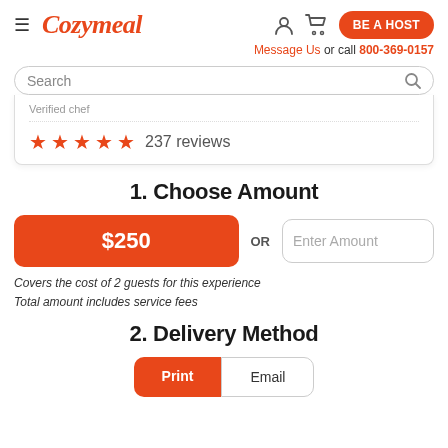Cozymeal
Message Us or call 800-369-0157
Search
Verified chef
237 reviews
1. Choose Amount
$250
OR
Enter Amount
Covers the cost of 2 guests for this experience
Total amount includes service fees
2. Delivery Method
Print
Email